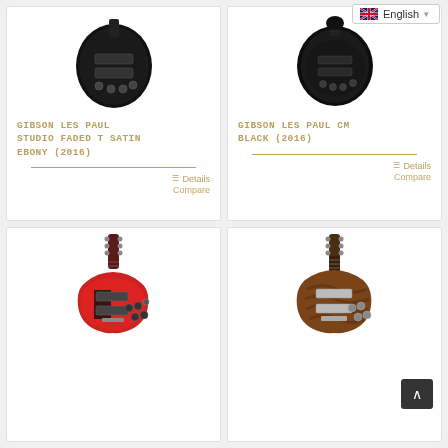[Figure (screenshot): Language selector dropdown showing English with UK flag]
[Figure (photo): Gibson Les Paul Studio Faded T Satin Ebony (2016) - black electric guitar body from top view]
GIBSON LES PAUL STUDIO FADED T SATIN EBONY (2016)
Details
Compare
[Figure (photo): Gibson Les Paul CM Black (2016) - black electric guitar body from top view]
GIBSON LES PAUL CM BLACK (2016)
Details
Compare
[Figure (photo): Red electric guitar - Les Paul style with cherry red finish]
[Figure (photo): Brown/tiger stripe electric guitar - Les Paul style with scroll-to-top button overlay]